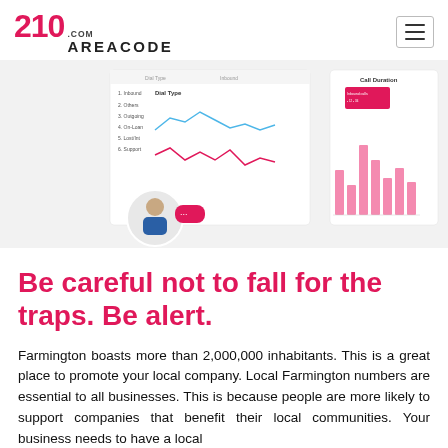210AREACODE.COM
[Figure (screenshot): Screenshot of a call analytics dashboard showing a line chart labeled 'Dial Type' with blue and pink lines, a list of call categories, and a bar chart labeled 'Call Duration' with pink bars. A circular avatar of a man in a suit is at the bottom-left with a pink chat bubble.]
Be careful not to fall for the traps. Be alert.
Farmington boasts more than 2,000,000 inhabitants. This is a great place to promote your local company. Local Farmington numbers are essential to all businesses. This is because people are more likely to support companies that benefit their local communities. Your business needs to have a local…